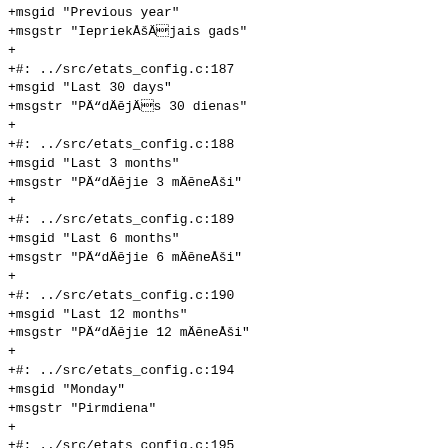+msgid "Previous year"
+msgstr "IepriekÅ¡Äjais gads"
+
+#: ../src/etats_config.c:187
+msgid "Last 30 days"
+msgstr "PÄdÄējÄs 30 dienas"
+
+#: ../src/etats_config.c:188
+msgid "Last 3 months"
+msgstr "PÄdÄējie 3 mÄēneÅ¡i"
+
+#: ../src/etats_config.c:189
+msgid "Last 6 months"
+msgstr "PÄdÄējie 6 mÄēneÅ¡i"
+
+#: ../src/etats_config.c:190
+msgid "Last 12 months"
+msgstr "PÄdÄējie 12 mÄēneÅ¡i"
+
+#: ../src/etats_config.c:194
+msgid "Monday"
+msgstr "Pirmdiena"
+
+#: ../src/etats_config.c:195
+msgid "Tuesday"
+msgstr "Otrdiena"
+
+#: ../src/etats_config.c:196
+msgid "Wednesday"
+msgstr "TreÅ¡diena"